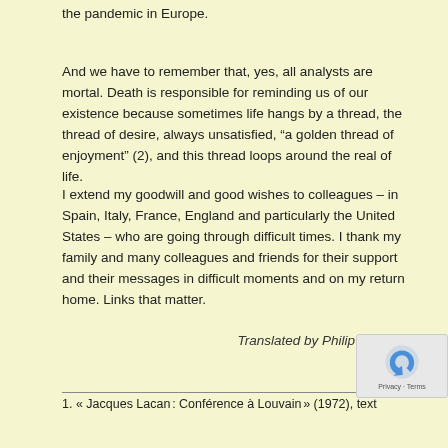the pandemic in Europe.
And we have to remember that, yes, all analysts are mortal. Death is responsible for reminding us of our existence because sometimes life hangs by a thread, the thread of desire, always unsatisfied, “a golden thread of enjoyment” (2), and this thread loops around the real of life.
I extend my goodwill and good wishes to colleagues – in Spain, Italy, France, England and particularly the United States – who are going through difficult times. I thank my family and many colleagues and friends for their support and their messages in difficult moments and on my return home. Links that matter.
Translated by Philip Dravers
1. « Jacques Lacan : Conférence à Louvain » (1972), text